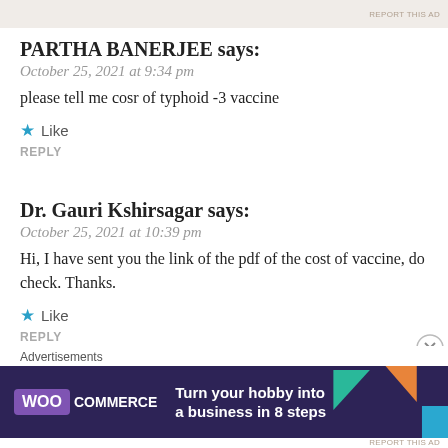[Figure (other): Top advertisement banner strip with partial image visible and REPORT THIS AD text]
PARTHA BANERJEE says:
October 25, 2021 at 9:34 pm
please tell me cosr of typhoid -3 vaccine
★ Like
REPLY
Dr. Gauri Kshirsagar says:
October 25, 2021 at 10:39 pm
Hi, I have sent you the link of the pdf of the cost of vaccine, do check. Thanks.
★ Like
REPLY
Advertisements
[Figure (other): WooCommerce advertisement banner: dark purple background with logo, colorful triangles, and text 'Turn your hobby into a business in 8 steps']